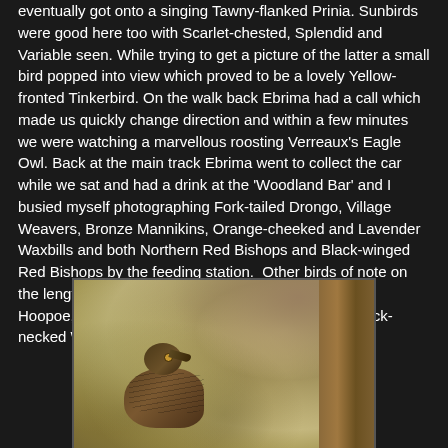eventually got onto a singing Tawny-flanked Prinia. Sunbirds were good here too with Scarlet-chested, Splendid and Variable seen. While trying to get a picture of the latter a small bird popped into view which proved to be a lovely Yellow-fronted Tinkerbird. On the walk back Ebrima had a call which made us quickly change direction and within a few minutes we were watching a marvellous roosting Verreaux's Eagle Owl. Back at the main track Ebrima went to collect the car while we sat and had a drink at the 'Woodland Bar' and I busied myself photographing Fork-tailed Drongo, Village Weavers, Bronze Mannikins, Orange-cheeked and Lavender Waxbills and both Northern Red Bishops and Black-winged Red Bishops by the feeding station. Other birds of note on the lengthy walk were Woodchat, Yellow-billed Shrike, Hoopoe, African Thrush, Black-billed Wood Dove, Black-necked Weaver and Senegal Parrot.
[Figure (photo): A bird (appears to be a weaver or similar species) perched near a tree trunk, photographed with a blurred green/yellow background. The bird has brown streaked plumage and is looking to the right.]